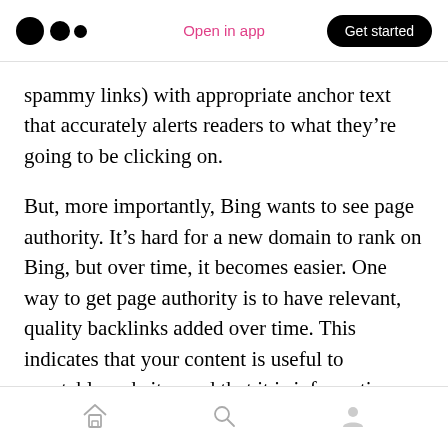Medium logo | Open in app | Get started
spammy links) with appropriate anchor text that accurately alerts readers to what they’re going to be clicking on.
But, more importantly, Bing wants to see page authority. It’s hard for a new domain to rank on Bing, but over time, it becomes easier. One way to get page authority is to have relevant, quality backlinks added over time. This indicates that your content is useful to reputable websites and that it is information that’s helpful over the long term. You’re not just in it for short-term gains.
Home | Search | Profile